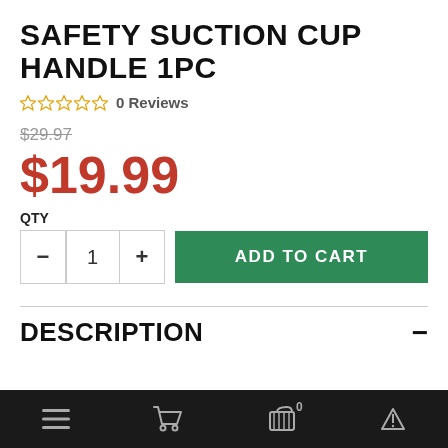SAFETY SUCTION CUP HANDLE 1PC
0 Reviews
$29.97
$19.99
QTY
ADD TO CART
DESCRIPTION
Navigation bar with menu, cart, basket (0), and up arrow icons